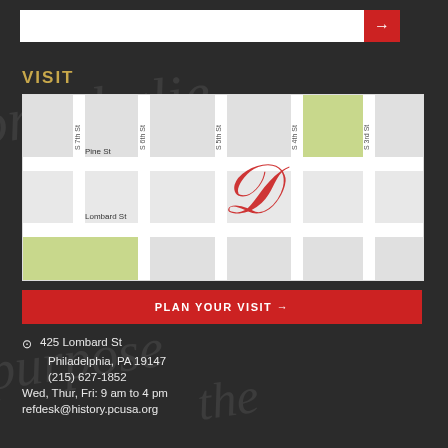[Figure (screenshot): Search bar with white input field and red arrow button on dark background]
VISIT
[Figure (map): Street map showing Philadelphia neighborhood around 425 Lombard St, with streets S 7th St, S 6th St, S 5th St, S 4th St, S 3rd St, Pine St, Lombard St labeled, and a decorative red cursive letter D marking the location]
PLAN YOUR VISIT →
425 Lombard St
Philadelphia, PA 19147
(215) 627-1852
Wed, Thur, Fri: 9 am to 4 pm
refdesk@history.pcusa.org